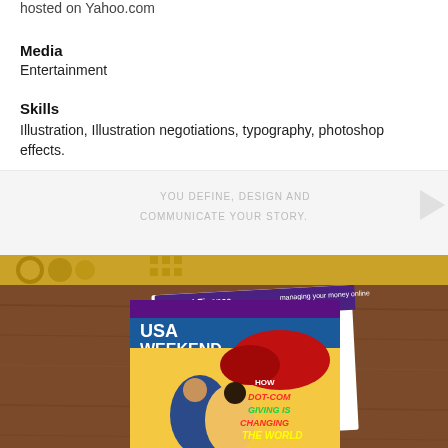hosted on Yahoo.com
Media
Entertainment
Skills
Illustration, Illustration negotiations, typography, photoshop effects.
[Figure (screenshot): Advertisement banner with text 'YOU DEFINE, DESIGN AND COMMUNICATE YOUR STORY.' with golden/yellow decorative bottom strip]
[Figure (photo): Photo of two magazine covers on a wooden table: USA WEEKEND magazine showing illustration 'HOW DOT-COM GIVING IS CHANGING THE WORLD' and Yahoo! Finance magazine]